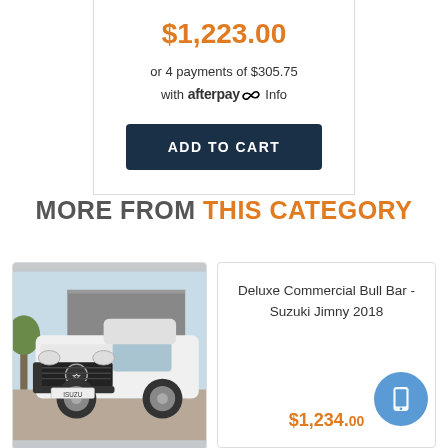$1,223.00
or 4 payments of $305.75 with afterpay Info
ADD TO CART
MORE FROM THIS CATEGORY
[Figure (photo): White SUV with bull bar, front-facing, parked outdoors]
Deluxe Commercial Bull Bar - Suzuki Jimny 2018
$1,234.00